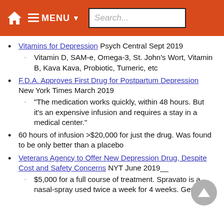MENU Search...
Vitamins for Depression Psych Central Sept 2019
Vitamin D, SAM-e, Omega-3, St. John's Wort, Vitamin B, Kava Kava, Probiotic, Tumeric, etc
F.D.A. Approves First Drug for Postpartum Depression New York Times March 2019
"The medication works quickly, within 48 hours. But it's an expensive infusion and requires a stay in a medical center."
60 hours of infusion >$20,000 for just the drug. Was found to be only better than a placebo
Veterans Agency to Offer New Depression Drug, Despite Cost and Safety Concerns NYT June 2019__
$5,000 for a full course of treatment. Spravato is a nasal-spray used twice a week for 4 weeks. Generic